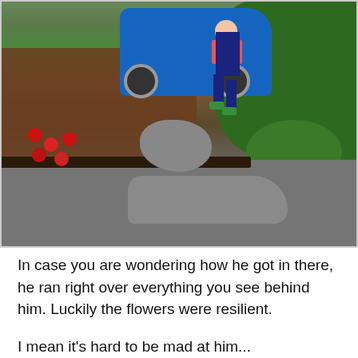[Figure (photo): Outdoor photo showing a young child standing on a large rock behind a blue toy ride-on car/vehicle that has driven into a garden bed with mulch, red flowers, and green bushes. A driveway or paved surface is visible in the foreground.]
In case you are wondering how he got in there, he ran right over everything you see behind him. Luckily the flowers were resilient.
I mean it's hard to be mad at him...